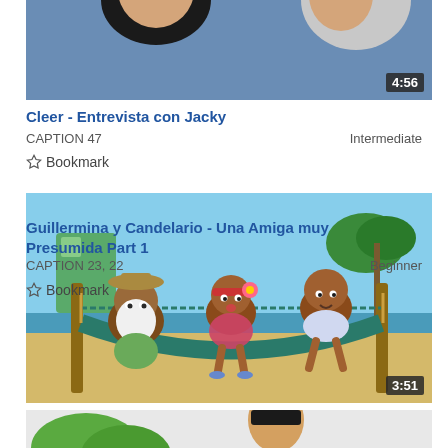[Figure (photo): Thumbnail of two people against a blue background, video duration badge showing 4:56]
Cleer - Entrevista con Jacky
CAPTION 47
Intermediate
Bookmark
[Figure (illustration): Animated cartoon thumbnail showing characters on a hammock at a beach scene, video duration badge showing 3:51]
Guillermina y Candelario - Una Amiga muy Presumida Part 1
CAPTION 23, 22
Beginner
Bookmark
[Figure (photo): Partial thumbnail showing a person and greenery at the bottom of the page]